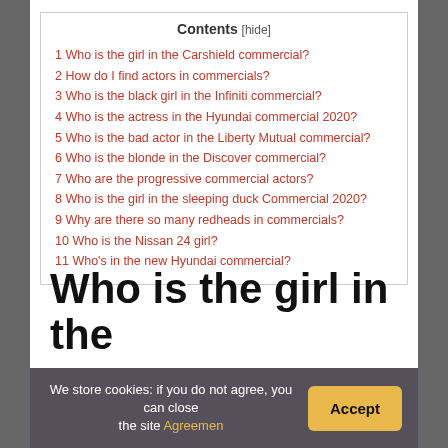Contents [hide]
1 Who is the girl in the Carshield commercial?
2 How do I find actors in commercials?
3 Who is the black girl in the Infiniti commercial?
4 Who is the actress in the Hyundai commercial 2020?
5 Who is the bad actor in the Liberty Mutual commercial?
6 Who is the blonde in the Discover commercial?
7 Who are the progressive commercial actors?
8 Who is the girl in the sleeping duck Commercial 2020?
9 Why are there so many redheads in commercials?
10 Who is the Nissan 24 girl?
11 Who's in the new Hyundai commercial?
Who is the girl in the
We store cookies: if you do not agree, you can close the site Agreemen